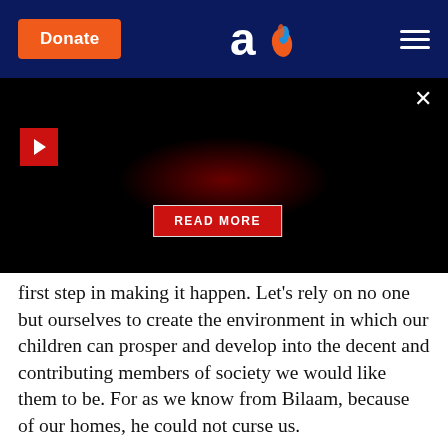Donate | Aish logo | hamburger menu
[Figure (screenshot): Black video player area with red play button in top-left, a red glowing region in center, a 'READ MORE' button, and a close (×) button in top-right.]
first step in making it happen. Let's rely on no one but ourselves to create the environment in which our children can prosper and develop into the decent and contributing members of society we would like them to be. For as we know from Bilaam, because of our homes, he could not curse us.
Like What You Read? Give Jews around the world the chance to experience engaging Jewish